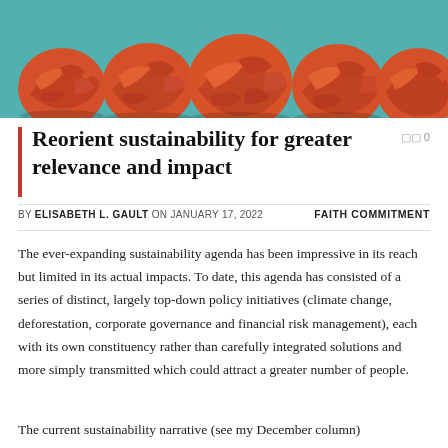[Figure (photo): Crumpled orange/red paper balls arranged on a teal/turquoise background, serving as a hero/header image for the article.]
Reorient sustainability for greater relevance and impact
BY ELISABETH L. GAULT ON JANUARY 17, 2022   FAITH COMMITMENT
The ever-expanding sustainability agenda has been impressive in its reach but limited in its actual impacts. To date, this agenda has consisted of a series of distinct, largely top-down policy initiatives (climate change, deforestation, corporate governance and financial risk management), each with its own constituency rather than carefully integrated solutions and more simply transmitted which could attract a greater number of people.
The current sustainability narrative (see my December column)